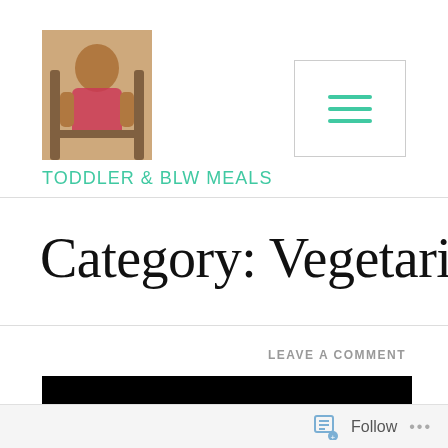[Figure (photo): Baby/toddler photo used as blog logo in top-left header area]
TODDLER & BLW MEALS
[Figure (other): Hamburger menu icon button (three horizontal teal lines) in top-right corner]
Category: Vegetarian
LEAVE A COMMENT
[Figure (photo): Black image block below leave a comment link]
Follow ...